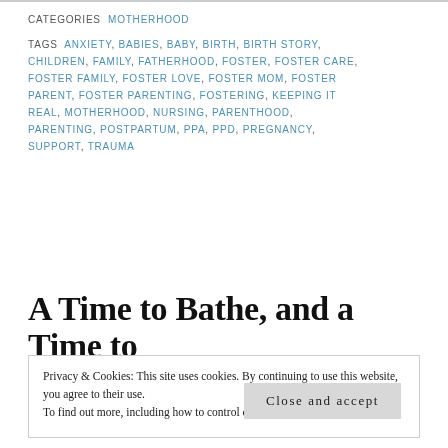CATEGORIES  MOTHERHOOD
TAGS  ANXIETY, BABIES, BABY, BIRTH, BIRTH STORY, CHILDREN, FAMILY, FATHERHOOD, FOSTER, FOSTER CARE, FOSTER FAMILY, FOSTER LOVE, FOSTER MOM, FOSTER PARENT, FOSTER PARENTING, FOSTERING, KEEPING IT REAL, MOTHERHOOD, NURSING, PARENTHOOD, PARENTING, POSTPARTUM, PPA, PPD, PREGNANCY, SUPPORT, TRAUMA
A Time to Bathe, and a Time to
Privacy & Cookies: This site uses cookies. By continuing to use this website, you agree to their use.
To find out more, including how to control cookies, see here: Cookie Policy
Close and accept